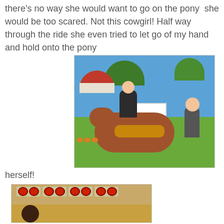there's no way she would want to go on the pony  she would be too scared. Not this cowgirl! Half way through the ride she even tried to let go of my hand and hold onto the pony
[Figure (photo): A young child sitting on a brown pony being led by a handler at what appears to be a fall farm/pumpkin patch. There is a red and white striped building in the background along with trees, pumpkins, and a white picket fence.]
herself!
[Figure (photo): A farm stand scene showing baskets of apples wrapped in cellophane on a wooden shelf, with hay bales below and a young child visible at the bottom of the frame. A wooden barrel and post are also visible.]